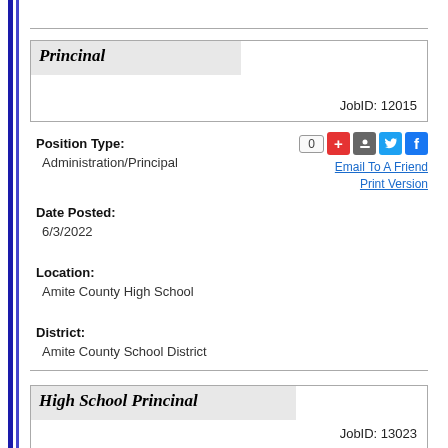Princinal
JobID: 12015
Position Type:
Administration/Principal
Date Posted:
6/3/2022
Location:
Amite County High School
District:
Amite County School District
High School Princinal
JobID: 13023